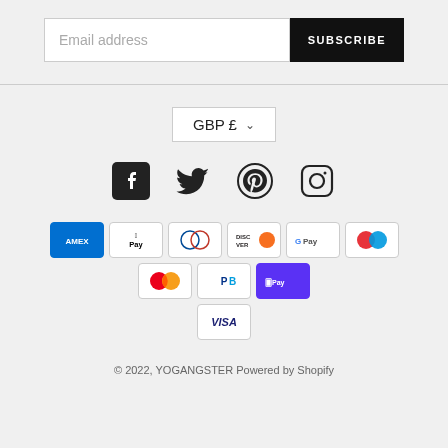[Figure (screenshot): Email subscription bar with placeholder 'Email address' and a black 'SUBSCRIBE' button]
[Figure (infographic): Currency selector showing GBP £ with dropdown arrow, social media icons (Facebook, Twitter, Pinterest, Instagram), payment method icons (Amex, Apple Pay, Diners Club, Discover, Google Pay, Maestro, Mastercard, PayPal, Shop Pay, Visa)]
© 2022, YOGANGSTER Powered by Shopify